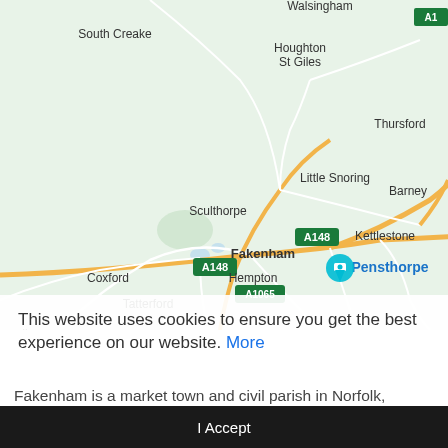[Figure (map): Google Maps screenshot showing Fakenham area in Norfolk, England. Notable locations: Walsingham (top center), South Creake (top left), Houghton St Giles (top center), Thursford (top right), Sculthorpe (center left), Little Snoring (center), Barney (right), A148 road signs (two green signs), A148 (yellow road), Kettlestone (center right), Fakenham (center), Hempton (center), Pensthorpe (center right, highlighted with teal map pin), Coxford (left), Tatterford (left center), Rudham (far left), Helhoughton (bottom left), West Raynham (bottom left), Great Ryburgh (bottom center right), A1065 sign (bottom left, green), Wellingham (bottom left), Gateley (bottom right), Bi- (far bottom right cropped), Brisley and North Elmham partially visible at bottom]
This website uses cookies to ensure you get the best experience on our website. More
Fakenham is a market town and civil parish in Norfolk, England. It is situated on the River Wensum, about 25 miles (40 km) to the northwest of Norwich. The...
I Accept